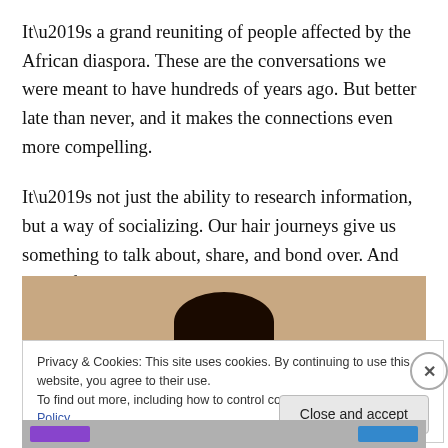It’s a grand reuniting of people affected by the African diaspora. These are the conversations we were meant to have hundreds of years ago. But better late than never, and it makes the connections even more compelling.
It’s not just the ability to research information, but a way of socializing. Our hair journeys give us something to talk about, share, and bond over. And yes, it feels like we’re celebrating once again.
[Figure (photo): Partial photo of a person with dark curly hair, cropped at the top of the head, against a light background]
Privacy & Cookies: This site uses cookies. By continuing to use this website, you agree to their use.
To find out more, including how to control cookies, see here: Cookie Policy
Close and accept